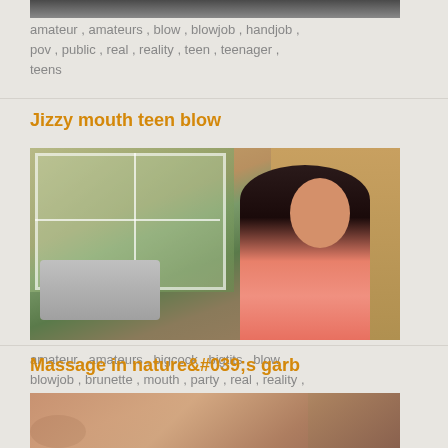[Figure (photo): Partial top of a video thumbnail, cropped]
amateur , amateurs , blow , blowjob , handjob , pov , public , real , reality , teen , teenager , teens
Jizzy mouth teen blow
[Figure (photo): Young brunette woman in pink top outdoors near a grill/barbecue, patio with windows in background]
amateur , amateurs , bigcock , bigtits , blow , blowjob , brunette , mouth , party , real , reality , teen , teens
Massage in nature&#039;s garb
[Figure (photo): Partial view of person receiving massage outdoors, skin tones, plants visible]